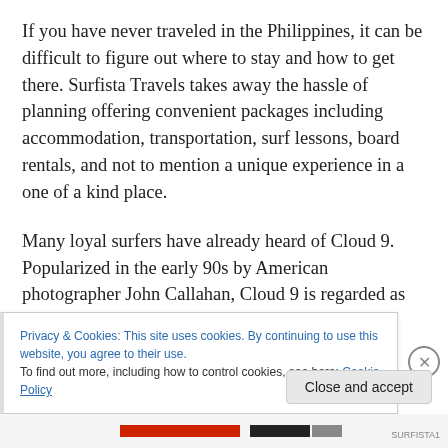If you have never traveled in the Philippines, it can be difficult to figure out where to stay and how to get there. Surfista Travels takes away the hassle of planning offering convenient packages including accommodation, transportation, surf lessons, board rentals, and not to mention a unique experience in a one of a kind place.
Many loyal surfers have already heard of Cloud 9. Popularized in the early 90s by American photographer John Callahan, Cloud 9 is regarded as “the surfing capital of the Philippines” and is renowned internationally for its
Privacy & Cookies: This site uses cookies. By continuing to use this website, you agree to their use.
To find out more, including how to control cookies, see here: Cookie Policy
Close and accept